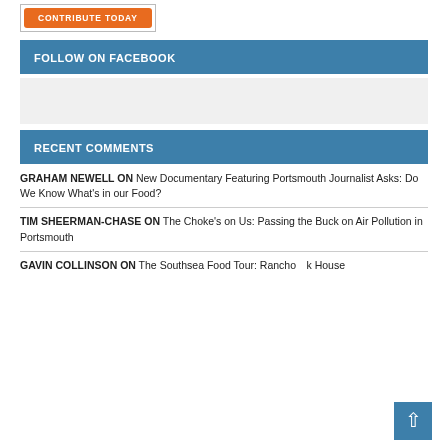[Figure (other): Orange 'CONTRIBUTE TODAY' button inside a bordered box]
FOLLOW ON FACEBOOK
[Figure (other): Grey placeholder box (Facebook widget area)]
RECENT COMMENTS
GRAHAM NEWELL ON New Documentary Featuring Portsmouth Journalist Asks: Do We Know What's in our Food?
TIM SHEERMAN-CHASE ON The Choke's on Us: Passing the Buck on Air Pollution in Portsmouth
GAVIN COLLINSON ON The Southsea Food Tour: Rancho Relaxo House